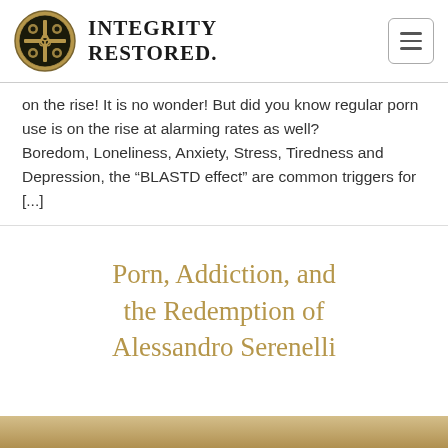INTEGRITY RESTORED.
on the rise! It is no wonder! But did you know regular porn use is on the rise at alarming rates as well?
Boredom, Loneliness, Anxiety, Stress, Tiredness and Depression, the “BLASTD effect” are common triggers for [...]
Porn, Addiction, and the Redemption of Alessandro Serenelli
[Figure (photo): Bottom strip of an image, partially visible at the base of the page, with warm golden/tan tones]